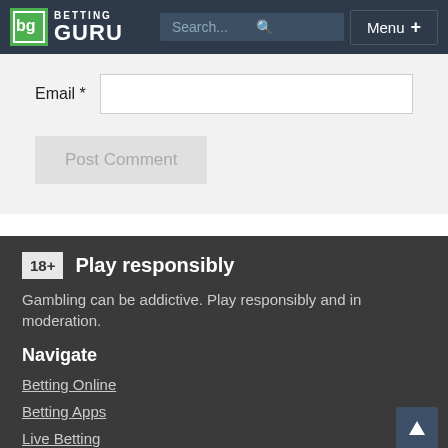BETTING GURU — navigation bar with Search and Menu
Email *
Post Comment
18+ Play responsibly
Gambling can be addictive. Play responsibly and in moderation.
Navigate
Betting Online
Betting Apps
Live Betting